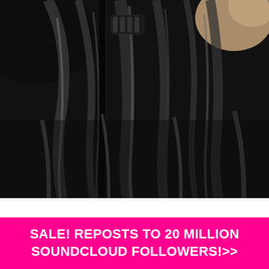[Figure (photo): Close-up blurred photo of shiny black hair being combed or styled by a hand visible at the top right, showing glossy dark strands with highlights]
SALE! REPOSTS TO 20 MILLION SOUNDCLOUD FOLLOWERS!>>